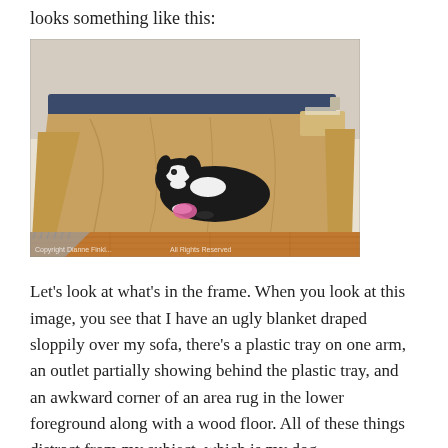looks something like this:
[Figure (photo): A black and white dog lying on a sofa draped with a large tan/khaki blanket. A pink toy is near the dog. A plastic tray is on the arm of the sofa. The lower foreground shows the corner of an area rug and a wood floor. A watermark reads: Copyright Donna Finki... All Rights Reserved.]
Let’s look at what’s in the frame.  When you look at this image, you see that I have an ugly blanket draped sloppily over my sofa, there’s a plastic tray on one arm, an outlet partially showing behind the plastic tray, and an awkward corner of an area rug in the lower foreground along with a wood floor.  All of these things distract from my subject, which is my dog.